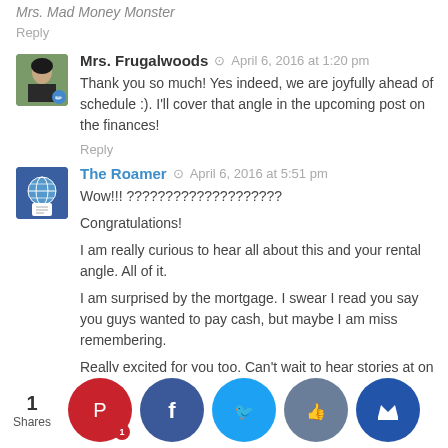Mrs. Mad Money Monster
Reply
Mrs. Frugalwoods  April 6, 2016 at 1:20 pm
Thank you so much! Yes indeed, we are joyfully ahead of schedule :). I'll cover that angle in the upcoming post on the finances!
Reply
The Roamer  April 6, 2016 at 5:51 pm
Wow!!! ????????????????????
Congratulations!

I am really curious to hear all about this and your rental angle. All of it.

I am surprised by the mortgage. I swear I read you say you guys wanted to pay cash, but maybe I am miss remembering.

Really excited for you too. Can't wait to hear stories at on this w...
1 Shares